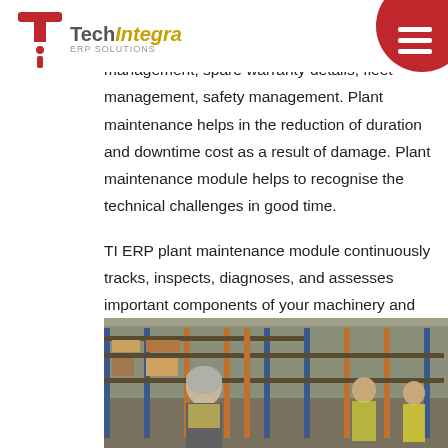TechIntegra
equipment & location details, corrective & preventive maintenance, AMC & contract management, spare warranty details, fleet management, safety management. Plant maintenance helps in the reduction of duration and downtime cost as a result of damage. Plant maintenance module helps to recognise the technical challenges in good time.
TI ERP plant maintenance module continuously tracks, inspects, diagnoses, and assesses important components of your machinery and triggers periodic notifications to maximise the service life.
[Figure (photo): Warehouse interior with shelving racks, workers in yellow safety vests. A man in foreground with grey hair visible.]